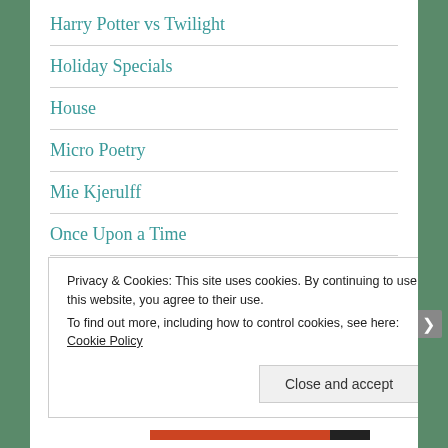Harry Potter vs Twilight
Holiday Specials
House
Micro Poetry
Mie Kjerulff
Once Upon a Time
Other Authors Work
Poetry
Privacy & Cookies: This site uses cookies. By continuing to use this website, you agree to their use.
To find out more, including how to control cookies, see here: Cookie Policy
Close and accept